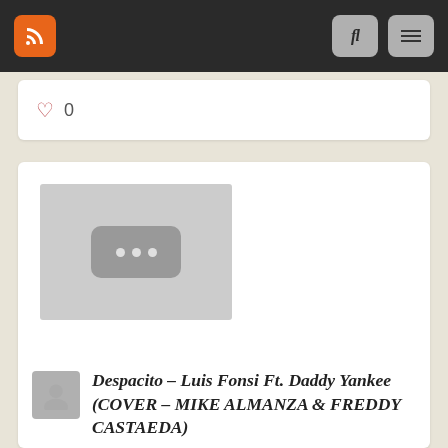[Figure (screenshot): Navigation bar with orange RSS icon on left and two gray buttons (search and menu) on right against dark background]
♡ 0
[Figure (screenshot): Thumbnail placeholder with gray background and a dark rounded rectangle containing three white dots (loading indicator)]
Despacito – Luis Fonsi Ft. Daddy Yankee (COVER – MIKE ALMANZA & FREDDY CASTAEDA)